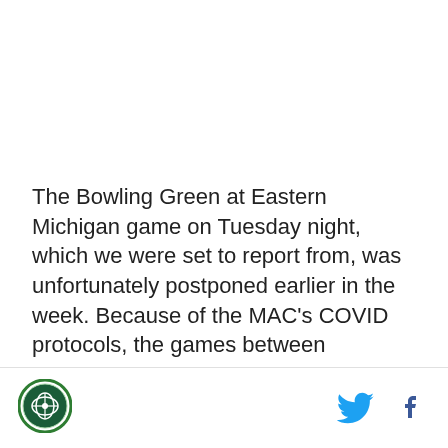The Bowling Green at Eastern Michigan game on Tuesday night, which we were set to report from, was unfortunately postponed earlier in the week. Because of the MAC's COVID protocols, the games between
[Figure (logo): Circular logo with green border and sports/MAC conference emblem in center]
[Figure (logo): Twitter bird icon in blue]
[Figure (logo): Facebook 'f' icon in dark blue]